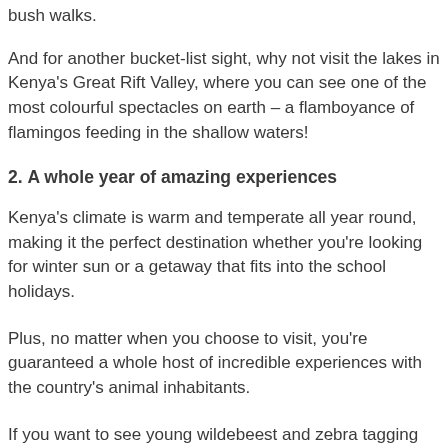bush walks.
And for another bucket-list sight, why not visit the lakes in Kenya's Great Rift Valley, where you can see one of the most colourful spectacles on earth – a flamboyance of flamingos feeding in the shallow waters!
2. A whole year of amazing experiences
Kenya's climate is warm and temperate all year round, making it the perfect destination whether you're looking for winter sun or a getaway that fits into the school holidays.
Plus, no matter when you choose to visit, you're guaranteed a whole host of incredible experiences with the country's animal inhabitants.
If you want to see young wildebeest and zebra tagging along after their mothers then aim to be on safari between January